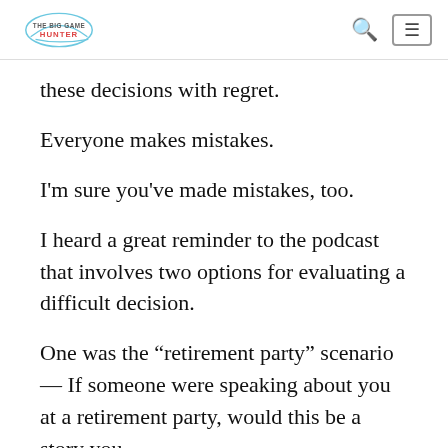The Big Game Hunter
these decisions with regret.
Everyone makes mistakes.
I'm sure you've made mistakes, too.
I heard a great reminder to the podcast that involves two options for evaluating a difficult decision.
One was the “retirement party” scenario — If someone were speaking about you at a retirement party, would this be a story you